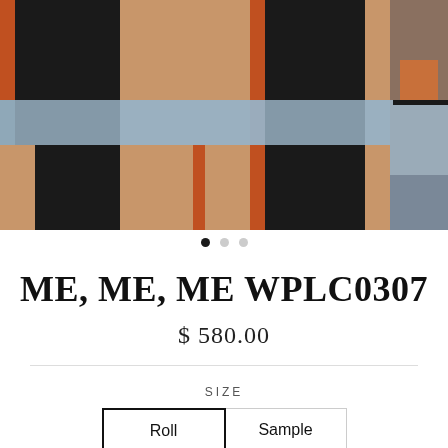[Figure (photo): Wallpaper pattern with orange, black, tan, and steel blue geometric blocks arranged in a repeating grid. A second lifestyle photo of the same wallpaper in a room setting is partially visible on the right edge.]
ME, ME, ME WPLC0307
$ 580.00
SIZE
Roll
Sample